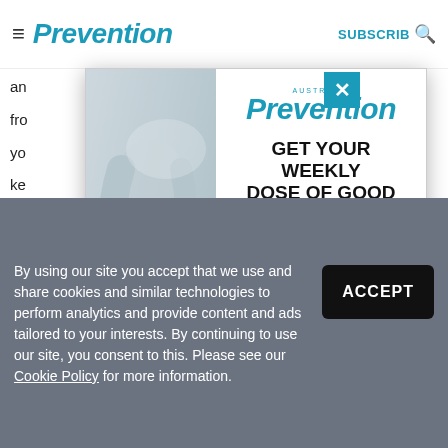Prevention — SUBSCRIBE
an... fro... yo...s, ke... up so... b ga... se... yo...
[Figure (photo): Prevention Australia newsletter signup modal overlay with photo of person doing yoga/stretching in soft light, featuring headline GET YOUR WEEKLY DOSE OF GOOD HEALTH, sign-up subtext, and email input field. Close button (X) in teal in upper right corner.]
By using our site you accept that we use and share cookies and similar technologies to perform analytics and provide content and ads tailored to your interests. By continuing to use our site, you consent to this. Please see our Cookie Policy for more information.